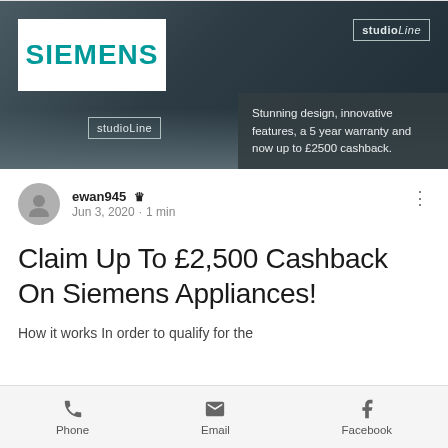[Figure (photo): Siemens studioline kitchen appliances advertisement banner showing dark kitchen with Siemens logo, studioline branding, and text about £2500 cashback promotion]
ewan945 👑
Jun 3, 2020 · 1 min
Claim Up To £2,500 Cashback On Siemens Appliances!
How it works In order to qualify for the
Phone  Email  Facebook